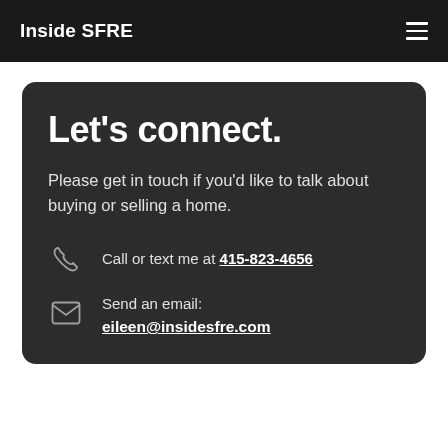Inside SFRE
Let's connect.
Please get in touch if you'd like to talk about buying or selling a home.
Call or text me at 415-823-4656
Send an email: eileen@insidesfre.com